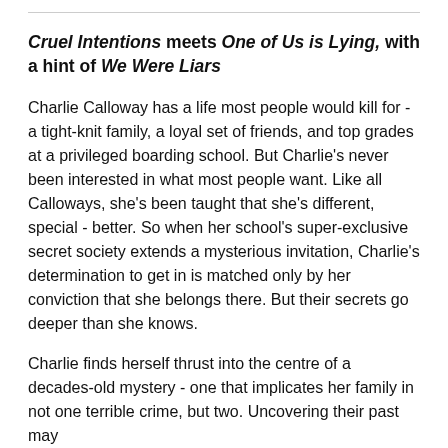Cruel Intentions meets One of Us is Lying, with a hint of We Were Liars
Charlie Calloway has a life most people would kill for - a tight-knit family, a loyal set of friends, and top grades at a privileged boarding school. But Charlie's never been interested in what most people want. Like all Calloways, she's been taught that she's different, special - better. So when her school's super-exclusive secret society extends a mysterious invitation, Charlie's determination to get in is matched only by her conviction that she belongs there. But their secrets go deeper than she knows.
Charlie finds herself thrust into the centre of a decades-old mystery - one that implicates her family in not one terrible crime, but two. Uncovering their past may